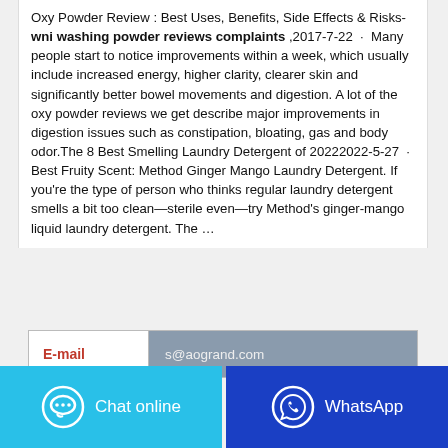Oxy Powder Review : Best Uses, Benefits, Side Effects & Risks- wni washing powder reviews complaints ,2017-7-22 · Many people start to notice improvements within a week, which usually include increased energy, higher clarity, clearer skin and significantly better bowel movements and digestion. A lot of the oxy powder reviews we get describe major improvements in digestion issues such as constipation, bloating, gas and body odor.The 8 Best Smelling Laundry Detergent of 20222022-5-27 · Best Fruity Scent: Method Ginger Mango Laundry Detergent. If you're the type of person who thinks regular laundry detergent smells a bit too clean—sterile even—try Method's ginger-mango liquid laundry detergent. The …
| E-mail | s@aogrand.com |
| --- | --- |
Chat online
WhatsApp